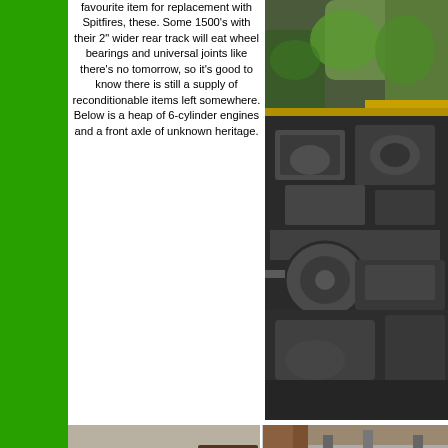favourite item for replacement with Spitfires, these. Some 1500's with their 2" wider rear track will eat wheel bearings and universal joints like there's no tomorrow, so it's good to know there is still a supply of reconditionable items left somewhere. Below is a heap of 6-cylinder engines and a front axle of unknown heritage.
[Figure (photo): Heap of old car parts, engines and components in a junkyard or workshop, covered in grease and oil]
[Figure (photo): Bottom left photo showing car body panels or axle parts in a workshop]
[Figure (photo): Bottom right photo showing more car parts or frame components]